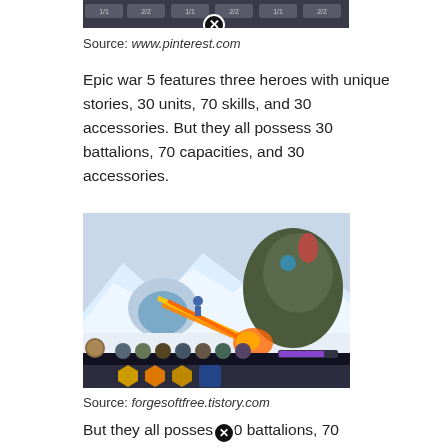[Figure (screenshot): Top portion of a game screenshot (Epic War 5) with UI elements and a close button overlay]
Source: www.pinterest.com
Epic war 5 features three heroes with unique stories, 30 units, 70 skills, and 30 accessories. But they all possess 30 battalions, 70 capacities, and 30 accessories.
[Figure (screenshot): Epic War 5 game screenshot showing a large monster creature with flaming attack in a snowy landscape, with game UI showing character portraits and skill buttons at the bottom]
Source: forgesoftfree.tistory.com
But they all possess 30 battalions, 70 capacities, and 30 accessories. If you want